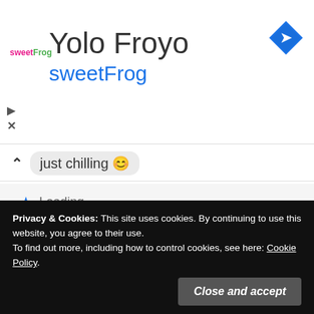[Figure (logo): sweetFrog frozen yogurt logo with pink and green text]
Yolo Froyo
sweetFrog
just chilling 😊
Loading...
Reply
Labdha   March 13, 2021 at 7:05 am
Privacy & Cookies: This site uses cookies. By continuing to use this website, you agree to their use.
To find out more, including how to control cookies, see here: Cookie Policy
Close and accept
Reply